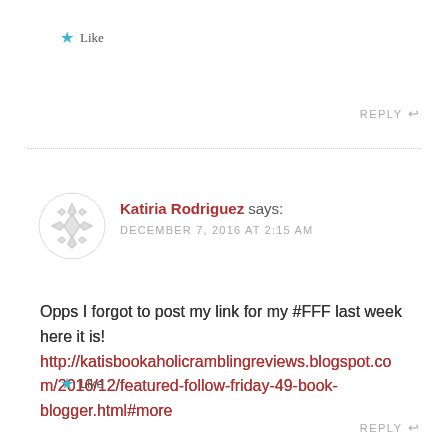★ Like
REPLY ↩
Katiria Rodriguez says:
DECEMBER 7, 2016 AT 2:15 AM
Opps I forgot to post my link for my #FFF last week here it is!
http://katisbookaholicramblingreviews.blogspot.com/2016/12/featured-follow-friday-49-book-blogger.html#more
★ Like
REPLY ↩